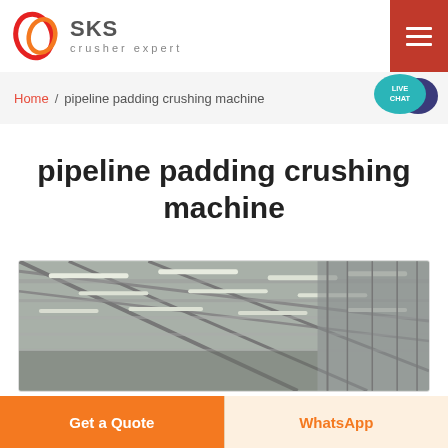[Figure (logo): SKY crusher expert logo with red circular icon and brand name]
Home / pipeline padding crushing machine
[Figure (illustration): Live Chat speech bubble icon in teal/dark blue]
pipeline padding crushing machine
[Figure (photo): Industrial facility interior showing steel structure roof with fluorescent lighting]
Get a Quote
WhatsApp